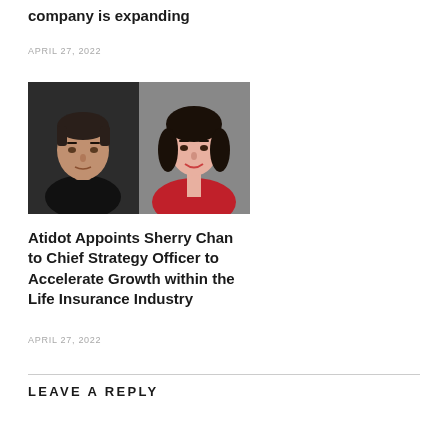company is expanding
APRIL 27, 2022
[Figure (photo): Two side-by-side headshots: left is a man in a black shirt against dark background, right is a woman in a red blazer smiling against gray background]
Atidot Appoints Sherry Chan to Chief Strategy Officer to Accelerate Growth within the Life Insurance Industry
APRIL 27, 2022
LEAVE A REPLY